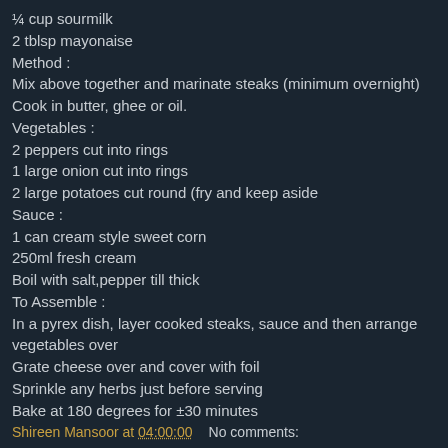¼ cup sourmilk
2 tblsp mayonaise
Method :
Mix above together and marinate steaks (minimum overnight)
Cook in butter, ghee or oil.
Vegetables :
2 peppers cut into rings
1 large onion cut into rings
2 large potatoes cut round (fry and keep aside
Sauce :
1 can cream style sweet corn
250ml fresh cream
Boil with salt,pepper till thick
To Assemble :
In a pyrex dish, layer cooked steaks, sauce and then arrange vegetables over
Grate cheese over and cover with foil
Sprinkle any herbs just before serving
Bake at 180 degrees for ±30 minutes
Shireen Mansoor at 04:00:00    No comments: